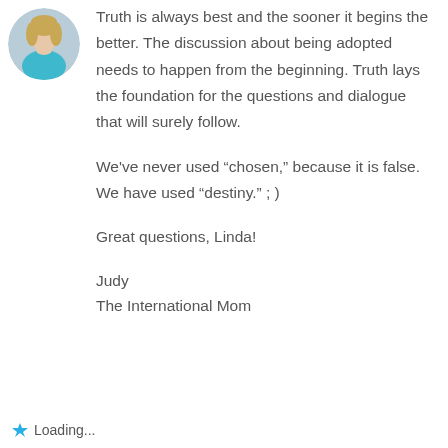[Figure (photo): Circular avatar photo of a woman with blonde hair wearing a teal/blue top]
Truth is always best and the sooner it begins the better. The discussion about being adopted needs to happen from the beginning. Truth lays the foundation for the questions and dialogue that will surely follow.

We've never used “chosen,” because it is false. We have used “destiny.” ; )

Great questions, Linda!

Judy
The International Mom
Loading...